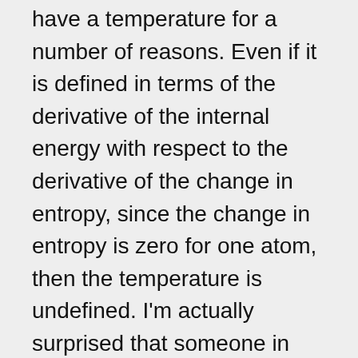have a temperature for a number of reasons. Even if it is defined in terms of the derivative of the internal energy with respect to the derivative of the change in entropy, since the change in entropy is zero for one atom, then the temperature is undefined. I'm actually surprised that someone in that forum didn't say that (the admin who mentioned T = dU/dS). If it was because they were thinking of an atom that can go between a ground state and excited state, then one could just postulate a lone proton (ionized hydrogen atom) and then this can't